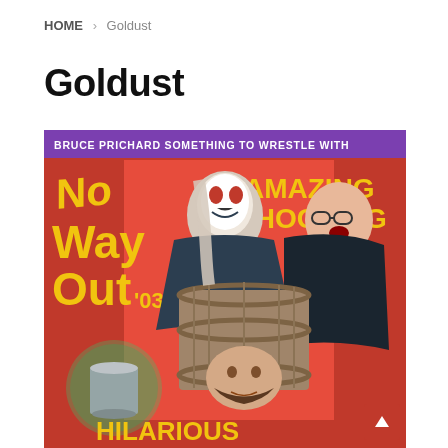HOME > Goldust
Goldust
[Figure (illustration): Bruce Prichard Something To Wrestle With podcast artwork styled as a vintage circus/horror poster. Text reads 'No Way Out 03', 'Amazing Shocking', 'Hilarious'. Features edited faces of podcast hosts on vintage illustration bodies, with a man's head in a barrel. Red background with yellow and green text. Purple banner at top reading 'BRUCE PRICHARD SOMETHING TO WRESTLE WITH'.]